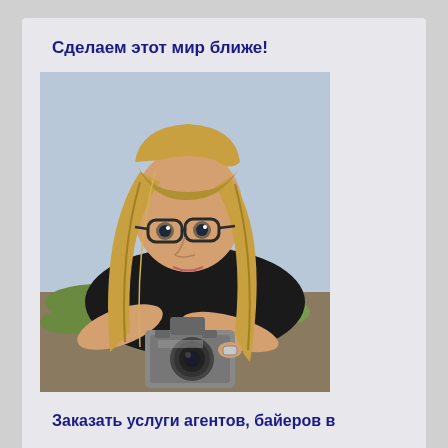Сделаем этот мир ближе!
[Figure (photo): Young woman with long blonde hair and glasses leaning down to look through a vintage camera (Exakta style), lying on the ground outdoors on grass/gravel, wearing a black top.]
Заказать услуги агентов, байеров в